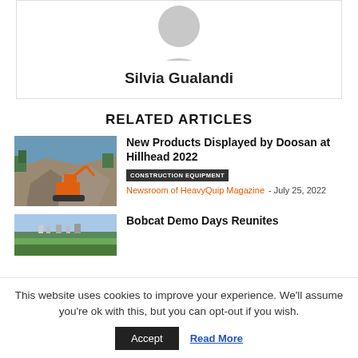[Figure (illustration): Circular avatar placeholder showing a grey silhouette icon (person outline), positioned at top center of a bordered card]
Silvia Gualandi
RELATED ARTICLES
[Figure (photo): Photo of an orange excavator working in a rocky quarry with trees in the background]
New Products Displayed by Doosan at Hillhead 2022
CONSTRUCTION EQUIPMENT  Newsroom of HeavyQuip Magazine - July 25, 2022
[Figure (photo): Aerial photo showing a green landscape with a town in the background]
Bobcat Demo Days Reunites
This website uses cookies to improve your experience. We'll assume you're ok with this, but you can opt-out if you wish.
Accept  Read More